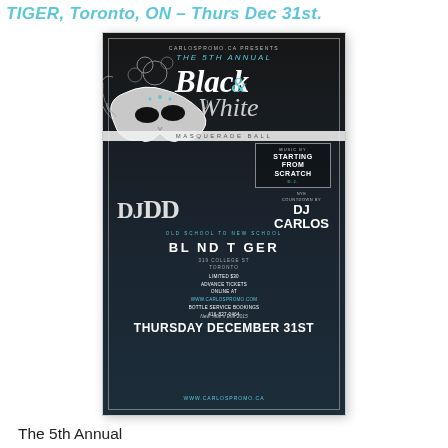TIGER, Toronto, ON – Thurs Dec 31st.
[Figure (illustration): Event flyer for The 5th Annual Black & White Masquerade Ball at Blind Tiger, Toronto. Dark background with masquerade mask image, event details including DJ performances, venue address, date Thursday December 31st, and website www.carlospromo.ca]
The 5th Annual
Black & White New Years Eve
Masquerade Party
taking place inside the Cool and Sexy